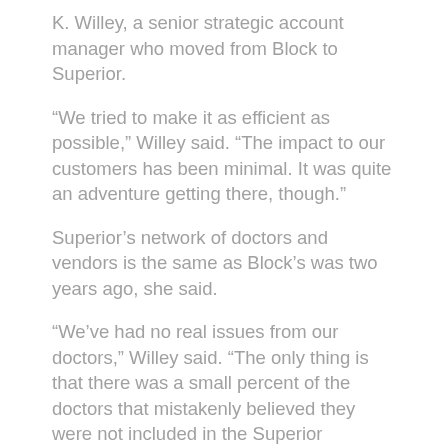K. Willey, a senior strategic account manager who moved from Block to Superior.
“We tried to make it as efficient as possible,” Willey said. “The impact to our customers has been minimal. It was quite an adventure getting there, though.”
Superior’s network of doctors and vendors is the same as Block’s was two years ago, she said.
“We’ve had no real issues from our doctors,” Willey said. “The only thing is that there was a small percent of the doctors that mistakenly believed they were not included in the Superior network.
“When they learned there was no more Block Vision, and they had not previously been affiliated with Superior, they believed they were out of the loop. Some may have advised patients that they did not take Superior Vision, when in fact they were automatically included on